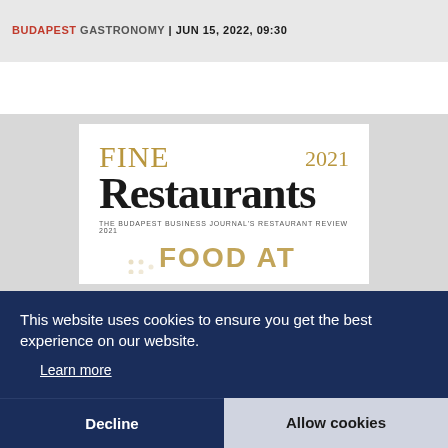BUDAPEST GASTRONOMY | JUN 15, 2022, 09:30
[Figure (illustration): Magazine cover for 'Fine Restaurants 2021 - The Budapest Business Journal's Restaurant Review 2021' with text 'FOOD AT' and decorative dot pattern]
This website uses cookies to ensure you get the best experience on our website.
Learn more
Decline
Allow cookies